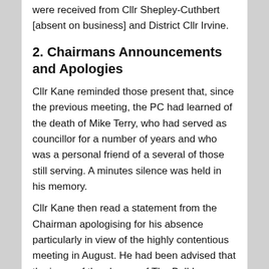were received from Cllr Shepley-Cuthbert [absent on business] and District Cllr Irvine.
2. Chairmans Announcements and Apologies
Cllr Kane reminded those present that, since the previous meeting, the PC had learned of the death of Mike Terry, who had served as councillor for a number of years and who was a personal friend of a several of those still serving. A minutes silence was held in his memory.
Cllr Kane then read a statement from the Chairman apologising for his absence particularly in view of the highly contentious meeting in August. He had been advised that the issue of the closure of The Bull Inn should be dealt with